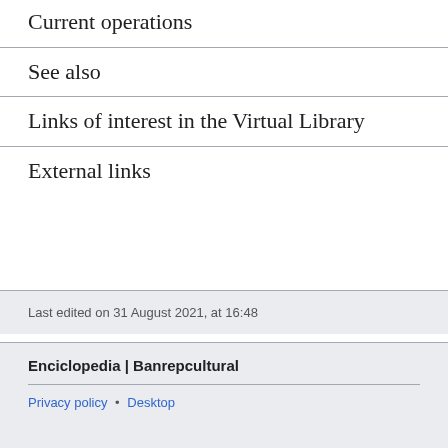Current operations
See also
Links of interest in the Virtual Library
External links
Last edited on 31 August 2021, at 16:48
Enciclopedia | Banrepcultural
Privacy policy • Desktop